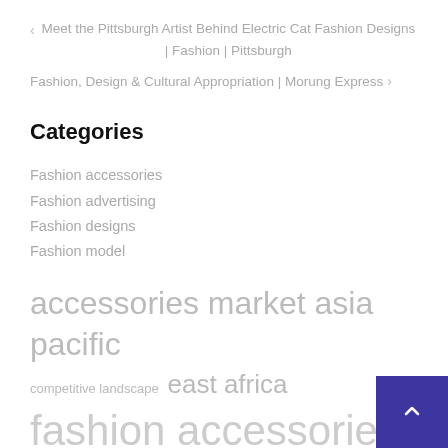< Meet the Pittsburgh Artist Behind Electric Cat Fashion Designs | Fashion | Pittsburgh
Fashion, Design & Cultural Appropriation | Morung Express >
Categories
Fashion accessories
Fashion advertising
Fashion designs
Fashion model
accessories market  asia pacific  competitive landscape  east africa  fashion accessories  fashion accessory  fashion brands